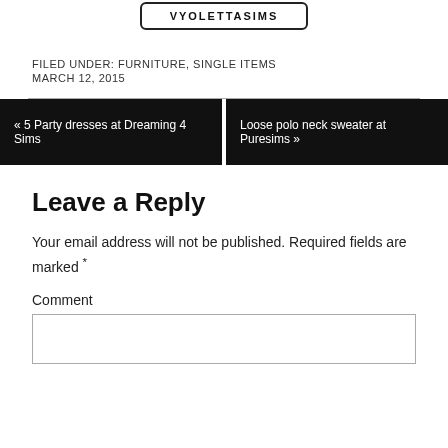[Figure (other): Button labeled VYOLETTASIMS with rounded border, centered]
FILED UNDER: FURNITURE, SINGLE ITEMS
MARCH 12, 2015
« 5 Party dresses at Dreaming 4 Sims
Loose polo neck sweater at Puresims »
Leave a Reply
Your email address will not be published. Required fields are marked *
Comment